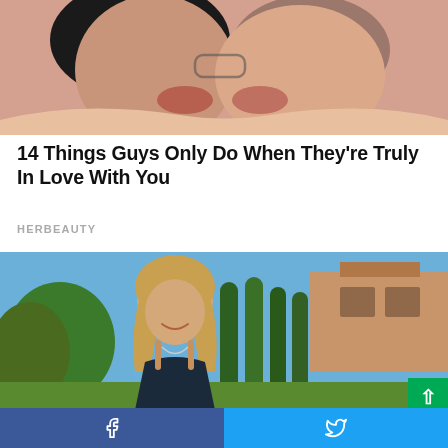[Figure (photo): Two people kissing close-up, cropped to show faces and lips]
14 Things Guys Only Do When They're Truly In Love With You
HERBEAUTY
[Figure (photo): Middle-aged blonde woman smiling outdoors in front of tall green trees and a house]
Men, You Don't Need Viagra If You Do This Once...
[Figure (infographic): Social share bar with Facebook and Twitter buttons at the bottom of the page]